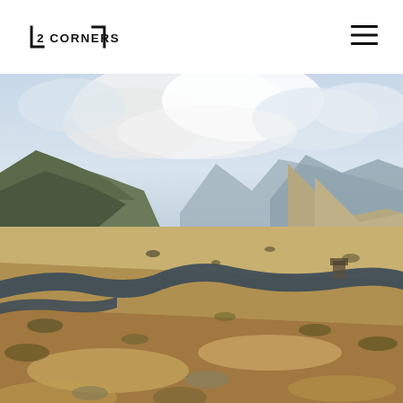[Figure (logo): 2 CORNERS logo with bracket/corner marks on left and right sides of the text]
[Figure (other): Navigation hamburger menu icon (three horizontal lines)]
[Figure (photo): Landscape photograph of a highland valley with a winding dark river or stream cutting through dry yellow-brown moorland, surrounded by mountains and hills under a cloudy sky. The terrain is desolate with sparse vegetation.]